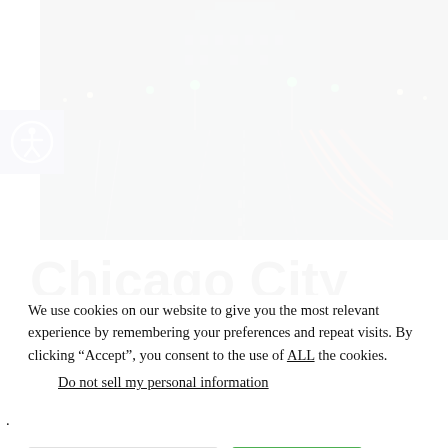[Figure (photo): Night city street scene showing a wet road with light trails from traffic, green traffic lights, and a grand building in the background. Chicago urban street at night.]
Chicago City Dump Truck Runs Over and
We use cookies on our website to give you the most relevant experience by remembering your preferences and repeat visits. By clicking “Accept”, you consent to the use of ALL the cookies.
Do not sell my personal information.
Cookie Settings   Accept